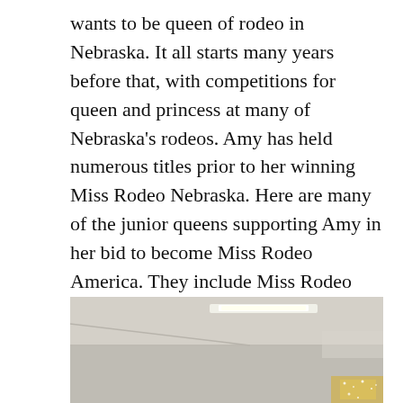wants to be queen of rodeo in Nebraska. It all starts many years before that, with competitions for queen and princess at many of Nebraska's rodeos. Amy has held numerous titles prior to her winning Miss Rodeo Nebraska. Here are many of the junior queens supporting Amy in her bid to become Miss Rodeo America. They include Miss Rodeo Nebraska 2010 Lady in Waiting, Miss Teen Rodeo Nebraska, Miss Burwell Rodeo, the Oregon Trail Rodeo Queen, Miss Southwest Nebraska Rodeo Queen, Miss Southwest Nebraska Junior Rodeo Queen, Miss Rodeo Cherry County, Miss Rodeo Webster County, Ogallala Round-Up Queen, Miss Rodeo Wilsonville, Logan County Rodeo Princess, Sutherland Junior Rodeo Queen, Miss Rodeo Nuckolls County and the Elwood Rodeo Queen. That's a lot of royalty!
[Figure (photo): Interior room photo showing ceiling with a fluorescent light fixture, white walls and ceiling, with a corner detail visible. Bottom right shows a glimpse of a sparkly or glittery surface.]